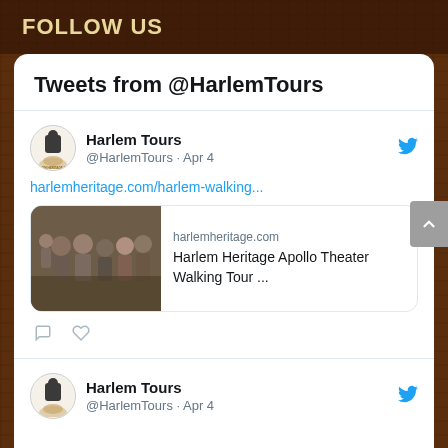FOLLOW US
Tweets from @HarlemTours
Harlem Tours @HarlemTours · Apr 4
harlemheritage.com/harlem-walking...
[Figure (screenshot): Tweet card showing a group photo at Harlem Heritage Apollo Theater Walking Tour with domain harlemheritage.com and title Harlem Heritage Apollo Theater Walking Tour ...]
Harlem Tours @HarlemTours · Apr 4